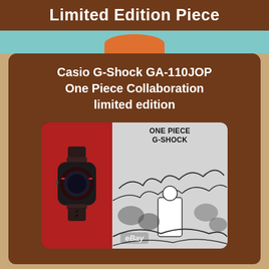Limited Edition Piece
Casio G-Shock GA-110JOP One Piece Collaboration limited edition
[Figure (photo): Product photo of Casio G-Shock GA-110JOP One Piece Collaboration watch with packaging. Left side shows the watch on red background, right side shows black and white One Piece manga artwork with 'ONE PIECE G-SHOCK' text. eBay watermark visible.]